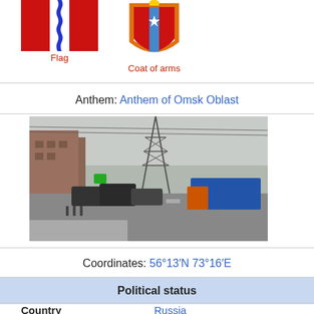[Figure (illustration): Flag of Omsk Oblast - red background with vertical blue wavy stripe]
Flag
[Figure (illustration): Coat of arms of Omsk Oblast - orange bordered shield with red and white sections and blue stripe]
Coat of arms
Anthem: Anthem of Omsk Oblast
[Figure (photo): Street scene in Omsk Oblast showing a road with cars, a large transmission tower, and a blue truck in winter conditions]
Coordinates: 56°13′N 73°16′E
Political status
Country   Russia